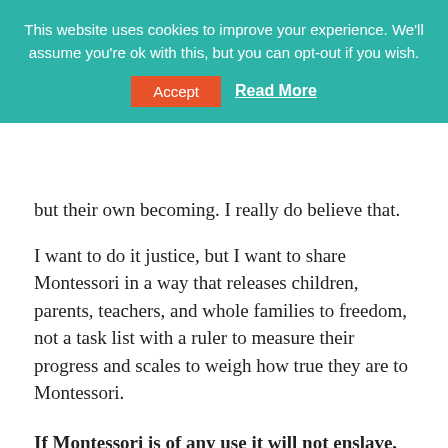This website uses cookies to improve your experience. We'll assume you're ok with this, but you can opt-out if you wish. Accept Read More
but their own becoming. I really do believe that.
I want to do it justice, but I want to share Montessori in a way that releases children, parents, teachers, and whole families to freedom, not a task list with a ruler to measure their progress and scales to weigh how true they are to Montessori.
If Montessori is of any use it will not enslave, but free.